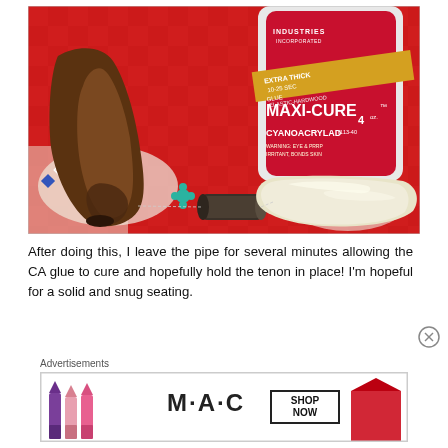[Figure (photo): Photo of a broken pipe tenon with wood pipe mouthpiece, a small dark cylindrical tenon piece, a cream/pearl colored mouthpiece piece, and a bottle of BSI Industries MAXI-CURE Extra Thick Cyanoacrylate CA glue on a red embroidered fabric background]
After doing this, I leave the pipe for several minutes allowing the CA glue to cure and hopefully hold the tenon in place! I'm hopeful for a solid and snug seating.
Advertisements
[Figure (photo): Advertisement banner for MAC cosmetics showing lipsticks and 'SHOP NOW' text]